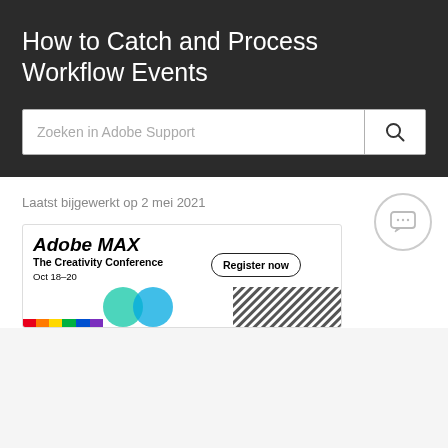How to Catch and Process Workflow Events
[Figure (screenshot): Search bar with placeholder 'Zoeken in Adobe Support' and a search icon on the right]
Laatst bijgewerkt op 2 mei 2021
[Figure (illustration): Adobe MAX - The Creativity Conference banner. Oct 18-20. Register now button. Colorful graphic with circles and hatch pattern.]